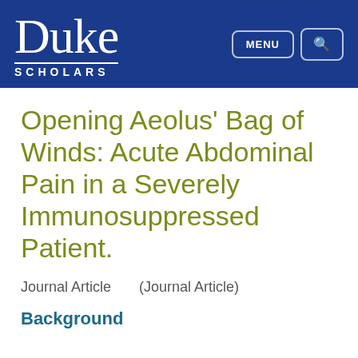[Figure (logo): Duke Scholars logo with navigation buttons MENU and search icon on blue header bar]
Opening Aeolus' Bag of Winds: Acute Abdominal Pain in a Severely Immunosuppressed Patient.
Journal Article    (Journal Article)
Background